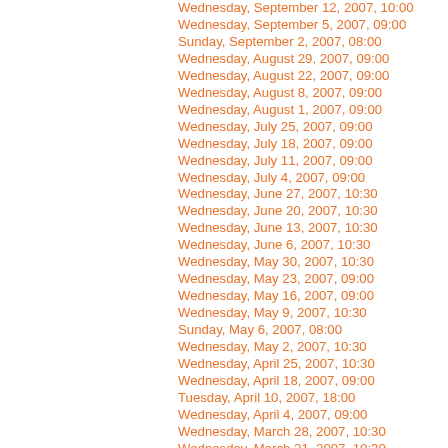Wednesday, September 12, 2007, 10:00
Wednesday, September 5, 2007, 09:00
Sunday, September 2, 2007, 08:00
Wednesday, August 29, 2007, 09:00
Wednesday, August 22, 2007, 09:00
Wednesday, August 8, 2007, 09:00
Wednesday, August 1, 2007, 09:00
Wednesday, July 25, 2007, 09:00
Wednesday, July 18, 2007, 09:00
Wednesday, July 11, 2007, 09:00
Wednesday, July 4, 2007, 09:00
Wednesday, June 27, 2007, 10:30
Wednesday, June 20, 2007, 10:30
Wednesday, June 13, 2007, 10:30
Wednesday, June 6, 2007, 10:30
Wednesday, May 30, 2007, 10:30
Wednesday, May 23, 2007, 09:00
Wednesday, May 16, 2007, 09:00
Wednesday, May 9, 2007, 10:30
Sunday, May 6, 2007, 08:00
Wednesday, May 2, 2007, 10:30
Wednesday, April 25, 2007, 10:30
Wednesday, April 18, 2007, 09:00
Tuesday, April 10, 2007, 18:00
Wednesday, April 4, 2007, 09:00
Wednesday, March 28, 2007, 10:30
Wednesday, March 21, 2007, 10:30
Wednesday, March 14, 2007, 10:30
Wednesday, March 14, 2007, 09:00
Wednesday, March 7, 2007, 10:30
Wednesday, February 28, 2007, 10:30
Wednesday, February 21, 2007, 10:30
Wednesday, February 14, 2007, 10:30